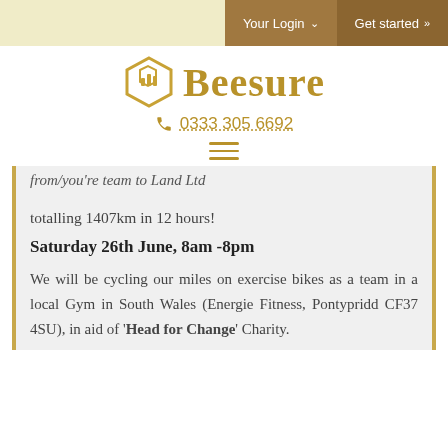Your Login ∨    Get started »
[Figure (logo): Beesure logo — gold hexagon icon with bar chart motif and the word 'Beesure' in gold serif font]
0333 305 6692
(partial/cropped text above the card)
totalling 1407km in 12 hours!
Saturday 26th June, 8am -8pm
We will be cycling our miles on exercise bikes as a team in a local Gym in South Wales (Energie Fitness, Pontypridd CF37 4SU), in aid of 'Head for Change' Charity.